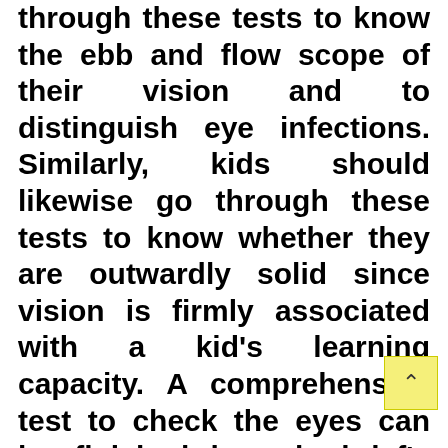through these tests to know the ebb and flow scope of their vision and to distinguish eye infections. Similarly, kids should likewise go through these tests to know whether they are outwardly solid since vision is firmly associated with a kid's learning capacity. A comprehensive test to check the eyes can be finished in only brief's time whenever done under the direction of an equipped optician. Each eye test varies with one another however there are additionally normal qualities for them all.